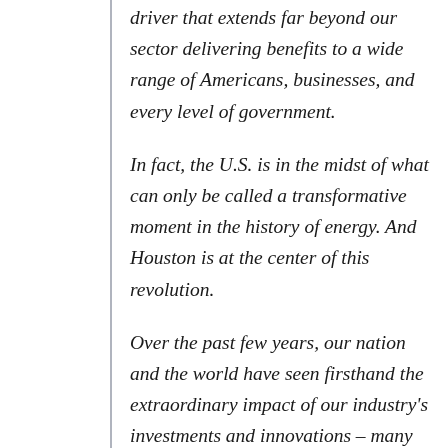driver that extends far beyond our sector delivering benefits to a wide range of Americans, businesses, and every level of government.
In fact, the U.S. is in the midst of what can only be called a transformative moment in the history of energy. And Houston is at the center of this revolution.
Over the past few years, our nation and the world have seen firsthand the extraordinary impact of our industry's investments and innovations – many of which were developed right here.